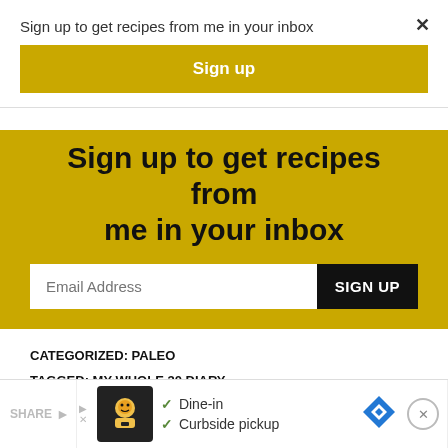Sign up to get recipes from me in your inbox
×
Sign up
[Figure (screenshot): Yellow banner with bold text 'Sign up to get recipes from me in your inbox', an email address input field, and a black SIGN UP button]
CATEGORIZED: PALEO
TAGGED: MY WHOLE 30 DIARY
[Figure (screenshot): Bottom advertisement bar showing SHARE label, a restaurant icon, check marks for Dine-in and Curbside pickup, a blue navigation diamond icon, and an X close button]